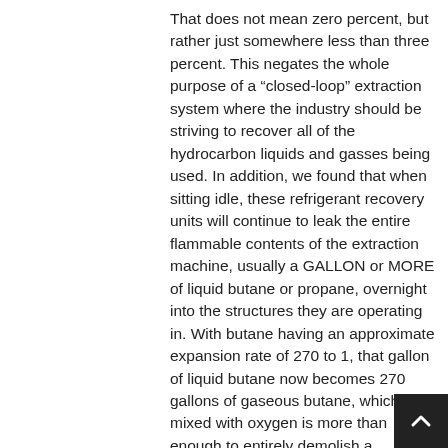That does not mean zero percent, but rather just somewhere less than three percent. This negates the whole purpose of a “closed-loop” extraction system where the industry should be striving to recover all of the hydrocarbon liquids and gasses being used. In addition, we found that when sitting idle, these refrigerant recovery units will continue to leak the entire flammable contents of the extraction machine, usually a GALLON or MORE of liquid butane or propane, overnight into the structures they are operating in. With butane having an approximate expansion rate of 270 to 1, that gallon of liquid butane now becomes 270 gallons of gaseous butane, which mixed with oxygen is more than enough to entirely demolish a